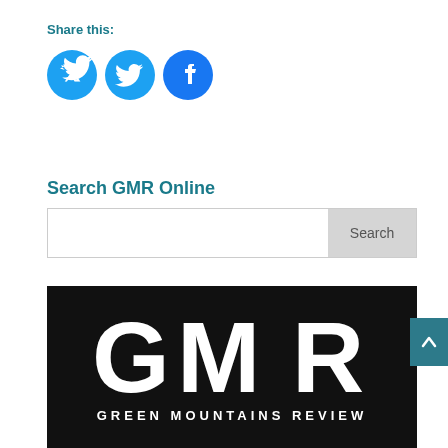Share this:
[Figure (logo): Twitter and Facebook social sharing icon buttons (blue circles with white bird and 'f' icons)]
Search GMR Online
[Figure (screenshot): Search input box with Search button]
[Figure (logo): Green Mountains Review logo — black background with large white GMR letters and 'GREEN MOUNTAINS REVIEW' text below]